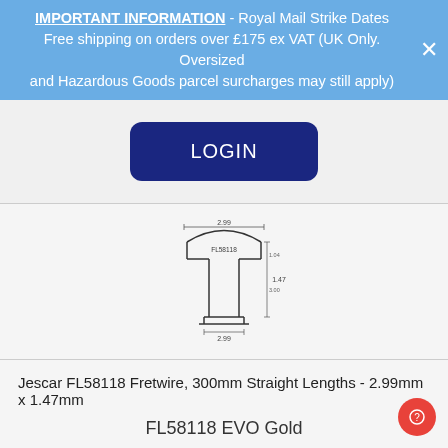IMPORTANT INFORMATION - Royal Mail Strike Dates
Free shipping on orders over £175 ex VAT (UK Only. Oversized and Hazardous Goods parcel surcharges may still apply)
[Figure (other): LOGIN button (dark navy blue rounded rectangle)]
[Figure (engineering-diagram): Technical cross-section diagram of Jescar FL58118 fretwire profile showing dimensions 2.99mm x 1.47mm with labeled measurements]
Jescar FL58118 Fretwire, 300mm Straight Lengths - 2.99mm x 1.47mm
FL58118 EVO Gold